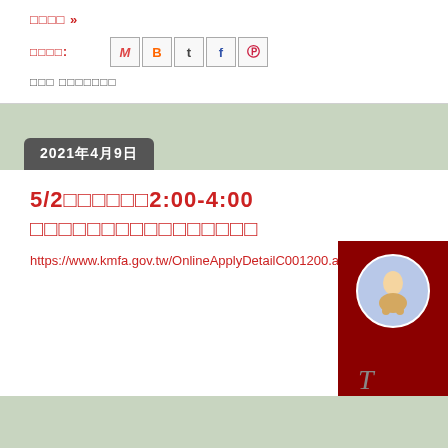□□□□ »
□□□□:
[Figure (screenshot): Social share icons: Gmail (M), Blogger (B), Twitter (t), Facebook (f), Pinterest (p)]
□□□ □□□□□□□
2021年4月9日
5/2□□□□□□2:00-4:00  □□□□□□□□□□□□□□□□
https://www.kmfa.gov.tw/OnlineApplyDetailC001200.aspx?Con
[Figure (photo): Partial image with dark red background showing a circular illustration of a figure, with letter T visible at bottom]